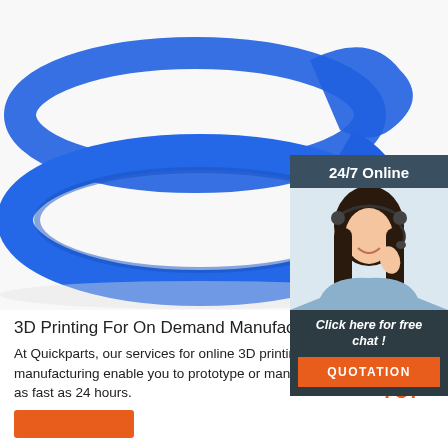[Figure (photo): Two blue silicone wristbands/bracelets on white background, viewed from above]
[Figure (photo): Online chat widget sidebar showing a smiling female customer service agent wearing a headset, with '24/7 Online' header, 'Click here for free chat!' text, and orange QUOTATION button]
3D Printing For On Demand Manufacturing
At Quickparts, our services for online 3D printing for on-demand manufacturing enable you to prototype or manufacture your parts in as fast as 24 hours.
[Figure (logo): TOP badge logo in orange with dot pattern]